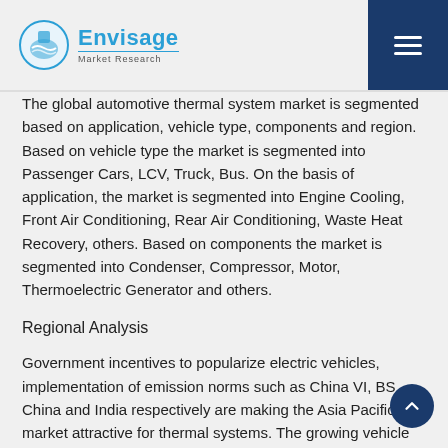Envisage Market Research
The global automotive thermal system market is segmented based on application, vehicle type, components and region. Based on vehicle type the market is segmented into Passenger Cars, LCV, Truck, Bus. On the basis of application, the market is segmented into Engine Cooling, Front Air Conditioning, Rear Air Conditioning, Waste Heat Recovery, others. Based on components the market is segmented into Condenser, Compressor, Motor, Thermoelectric Generator and others.
Regional Analysis
Government incentives to popularize electric vehicles, implementation of emission norms such as China VI, BS China and India respectively are making the Asia Pacific market attractive for thermal systems. The growing vehicle production in the Asia-Pacific region, with India and China